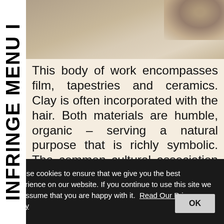[Figure (photo): Photograph showing ceramics or organic objects against a neutral warm background, partially visible at top of page]
INFRINGE MENU I
This body of work encompasses film, tapestries and ceramics. Clay is often incorporated with the hair. Both materials are humble, organic – serving a natural purpose that is richly symbolic. The common cultural association of pottery is its role as an artefact of bygone eras, its durability, history, maintaining parts of its form and design against the effects of time. Notoriously regarded as 'women's work', domestic handicrafts are also used through practices of embroidery and by weaving on large floor
We use cookies to ensure that we give you the best experience on our website. If you continue to use this site we will assume that you are happy with it.  Read Our Privacy Policy